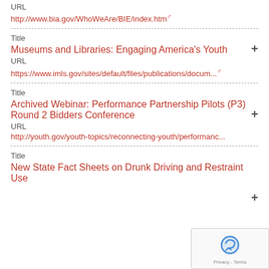URL
http://www.bia.gov/WhoWeAre/BIE/index.htm
Title
Museums and Libraries: Engaging America's Youth
URL
https://www.imls.gov/sites/default/files/publications/docum...
Title
Archived Webinar: Performance Partnership Pilots (P3) Round 2 Bidders Conference
URL
http://youth.gov/youth-topics/reconnecting-youth/performanc...
Title
New State Fact Sheets on Drunk Driving and Restraint Use